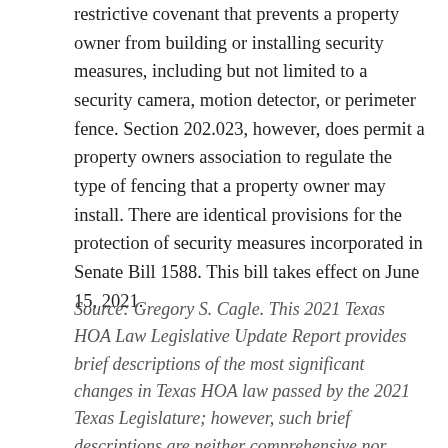restrictive covenant that prevents a property owner from building or installing security measures, including but not limited to a security camera, motion detector, or perimeter fence. Section 202.023, however, does permit a property owners association to regulate the type of fencing that a property owner may install. There are identical provisions for the protection of security measures incorporated in Senate Bill 1588. This bill takes effect on June 15, 2021.
Source: Gregory S. Cagle. This 2021 Texas HOA Law Legislative Update Report provides brief descriptions of the most significant changes in Texas HOA law passed by the 2021 Texas Legislature; however, such brief descriptions are neither comprehensive nor exhaustive of all changes in the laws that may apply directly or indirectly to a particular homeowners